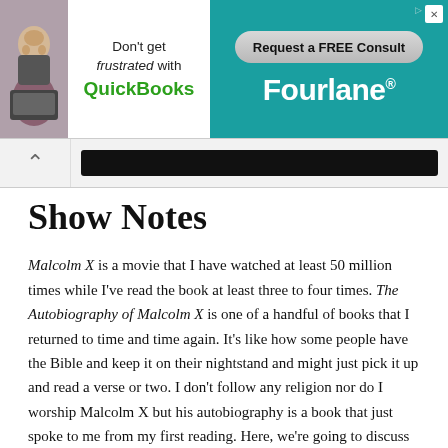[Figure (infographic): Advertisement banner for Fourlane QuickBooks consulting. Left side shows a black and white photo of a frustrated woman at a computer with text 'Don't get frustrated with QuickBooks'. Right side is teal/green with a button reading 'Request a FREE Consult' and 'Fourlane' branding.]
Navigation bar with back arrow and redacted/black address bar
Show Notes
Malcolm X is a movie that I have watched at least 50 million times while I've read the book at least three to four times. The Autobiography of Malcolm X is one of a handful of books that I returned to time and time again. It's like how some people have the Bible and keep it on their nightstand and might just pick it up and read a verse or two. I don't follow any religion nor do I worship Malcolm X but his autobiography is a book that just spoke to me from my first reading. Here, we're going to discuss the film, Malcolm X, which is based on The Autobiography of Malcolm